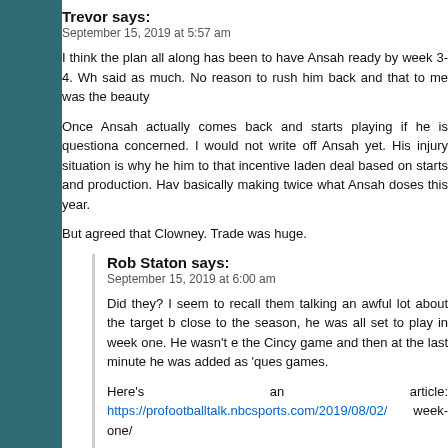Trevor says:
September 15, 2019 at 5:57 am
I think the plan all along has been to have Ansah ready by week 3-4. Wh said as much. No reason to rush him back and that to me was the beauty
Once Ansah actually comes back and starts playing if he is questiona concerned. I would not write off Ansah yet. His injury situation is why he him to that incentive laden deal based on starts and production. Hav basically making twice what Ansah doses this year.
But agreed that Clowney. Trade was huge.
Rob Staton says:
September 15, 2019 at 6:00 am
Did they? I seem to recall them talking an awful lot about the target b close to the season, he was all set to play in week one. He wasn't e the Cincy game and then at the last minute he was added as 'ques games.
Here's an article: https://profootballtalk.nbcsports.com/2019/08/02/ week-one/
Carroll offered an update on Ansah's outlook during an a sounds like the pass rusher now has a good chance of being
"Oh, sure. We're counting on it," Carroll said. "I'm counting see any reason that he wouldn't. He's doing great, has ma again yesterday and he'll continue to do that. I'm not reall